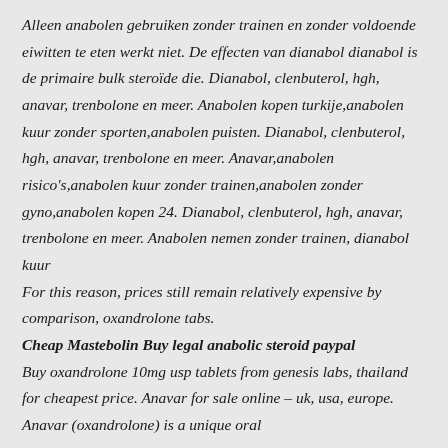Alleen anabolen gebruiken zonder trainen en zonder voldoende eiwitten te eten werkt niet. De effecten van dianabol dianabol is de primaire bulk steroïde die. Dianabol, clenbuterol, hgh, anavar, trenbolone en meer. Anabolen kopen turkije,anabolen kuur zonder sporten,anabolen puisten. Dianabol, clenbuterol, hgh, anavar, trenbolone en meer. Anavar,anabolen risico's,anabolen kuur zonder trainen,anabolen zonder gyno,anabolen kopen 24. Dianabol, clenbuterol, hgh, anavar, trenbolone en meer. Anabolen nemen zonder trainen, dianabol kuur
For this reason, prices still remain relatively expensive by comparison, oxandrolone tabs.
Cheap Mastebolin Buy legal anabolic steroid paypal
Buy oxandrolone 10mg usp tablets from genesis labs, thailand for cheapest price. Anavar for sale online – uk, usa, europe. Anavar (oxandrolone) is a unique oral